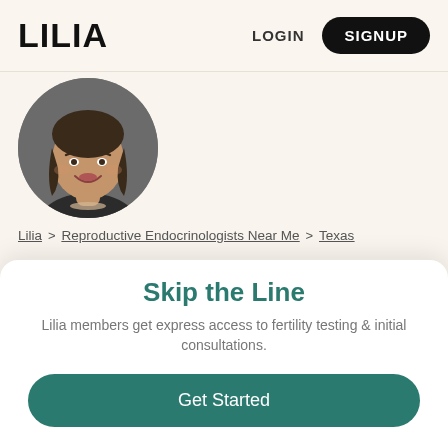LILIA  LOGIN  SIGNUP
[Figure (photo): Circular headshot of Dr. Dara Havemann, a woman with dark hair, smiling, wearing a dark blazer and pearl necklace]
Lilia > Reproductive Endocrinologists Near Me > Texas
Dr. Dara Havemann
3343 Legacy Dr, Suite 100, Frisco, Texas 75034-6343
Skip the Line
Lilia members get express access to fertility testing & initial consultations.
Get Started